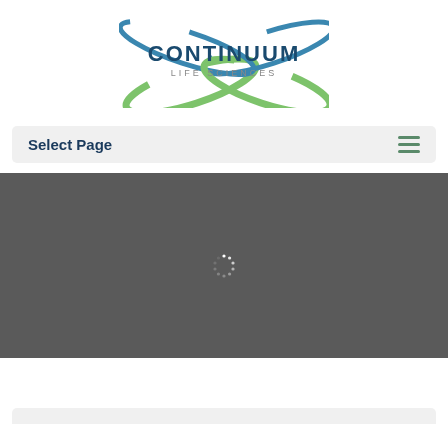[Figure (logo): Continuum Life Sciences logo with blue and green curved swoosh shapes and text 'CONTINUUM LIFE SCIENCES']
Select Page
[Figure (screenshot): Dark gray area with a loading spinner icon in the center, representing a loading video or content area on a website]